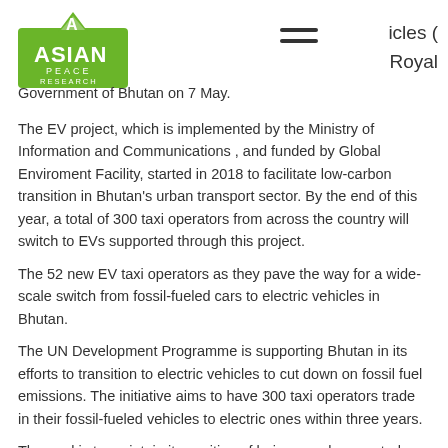Asian Peace Research — [partial header text] ...icles ( Royal Government of Bhutan on 7 May.
The EV project, which is implemented by the Ministry of Information and Communications , and funded by Global Enviroment Facility, started in 2018 to facilitate low-carbon transition in Bhutan's urban transport sector. By the end of this year, a total of 300 taxi operators from across the country will switch to EVs supported through this project.
The 52 new EV taxi operators as they pave the way for a wide-scale switch from fossil-fueled cars to electric vehicles in Bhutan.
The UN Development Programme is supporting Bhutan in its efforts to transition to electric vehicles to cut down on fossil fuel emissions. The initiative aims to have 300 taxi operators trade in their fossil-fueled vehicles to electric ones within three years.
The goal is to maintain its position of being a carbon neutral country by curtailing the emission to remain within the carbon sequestration capacity.